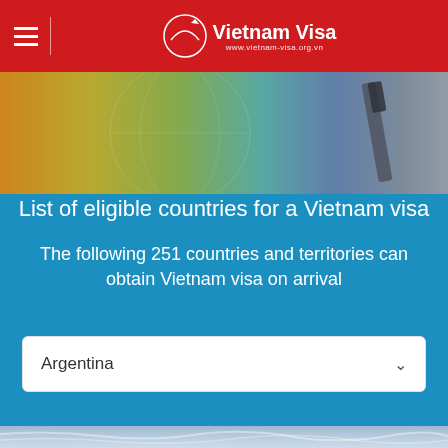Vietnam Visa — www.vietnam-visa.org.vn
[Figure (photo): Close-up photo of a colorful globe and a pen/passport, suggesting travel documents and geography]
List of eligible countries for a Vietnam visa
The following 251 countries and territories can obtain Vietnam visa on arrival
[Figure (screenshot): Dropdown selector showing 'Argentina' with a chevron arrow, for selecting a country]
[Figure (photo): Crumpled light blue map texture at the bottom of the page]